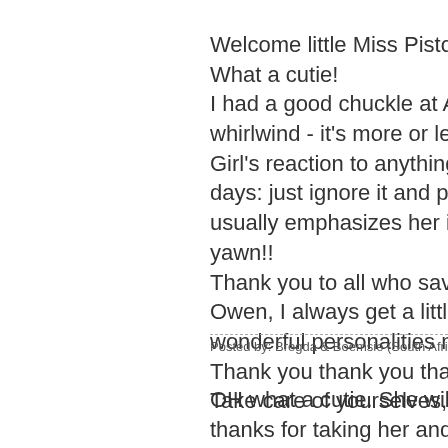Welcome little Miss Pistol, you a... What a cutie! I had a good chuckle at Avery's n... whirlwind - it's more or less the s... Girl's reaction to anything young ... days: just ignore it and pretend n... usually emphasizes her intention... yawn!! Thank you to all who saved Irene... Owen, I always get a little sad wh... wonderful personalities might hav... Thank you thank you thank you! Take care of yourselves, love&hu...
Posted by: Bregda & Boemsie (South Africa) | O...
OH what a cutie. She will be loac... thanks for taking her and Owen...